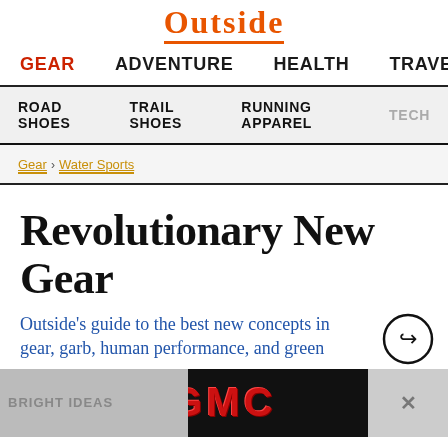Outside
GEAR  ADVENTURE  HEALTH  TRAVEL
ROAD SHOES  TRAIL SHOES  RUNNING APPAREL  TECH
Gear > Water Sports
Revolutionary New Gear
Outside's guide to the best new concepts in gear, garb, human performance, and green
[Figure (logo): GMC advertisement banner at bottom of page]